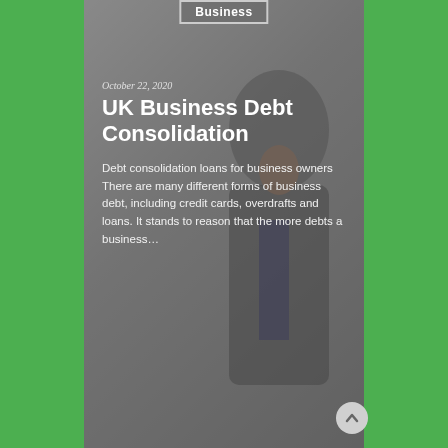[Figure (photo): A dark-tinted card overlaid on a screenshot of a finance blog page. The background shows a blurred image of a businessman in a suit making a phone call. The card has a semi-transparent dark grey overlay with white text.]
Business
October 22, 2020
UK Business Debt Consolidation
Debt consolidation loans for business owners There are many different forms of business debt, including credit cards, overdrafts and loans. It stands to reason that the more debts a business...